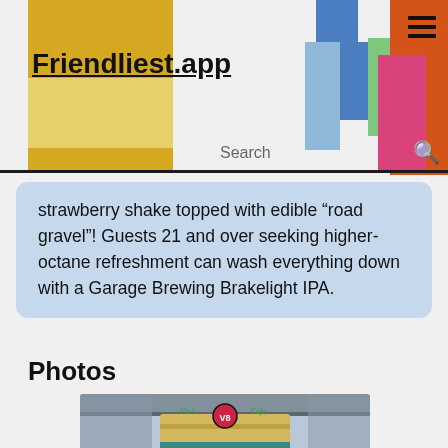Friendliest.app
strawberry shake topped with edible “road gravel”! Guests 21 and over seeking higher-octane refreshment can wash everything down with a Garage Brewing Brakelight IPA.
Photos
[Figure (photo): Exterior photo of Flo's V8 Cafe at Disney California Adventure, showing the diner's retro architecture with a V8 engine logo sign, curved building facade with yellow columns, and overpass structure against a light blue sky.]